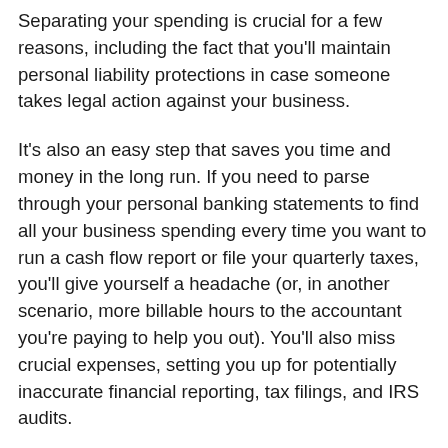Separating your spending is crucial for a few reasons, including the fact that you'll maintain personal liability protections in case someone takes legal action against your business.
It's also an easy step that saves you time and money in the long run. If you need to parse through your personal banking statements to find all your business spending every time you want to run a cash flow report or file your quarterly taxes, you'll give yourself a headache (or, in another scenario, more billable hours to the accountant you're paying to help you out). You'll also miss crucial expenses, setting you up for potentially inaccurate financial reporting, tax filings, and IRS audits.